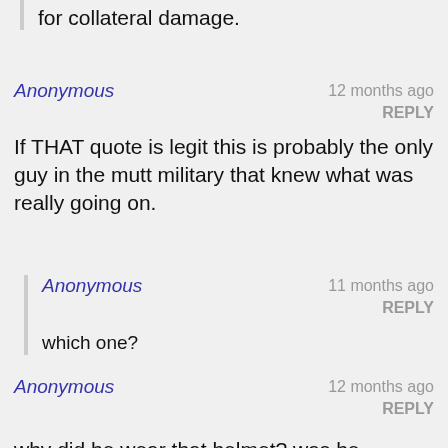for collateral damage.
Anonymous
12 months ago
REPLY
If THAT quote is legit this is probably the only guy in the mutt military that knew what was really going on.
Anonymous
11 months ago
REPLY
which one?
Anonymous
12 months ago
REPLY
why did he wear that helmet? was he